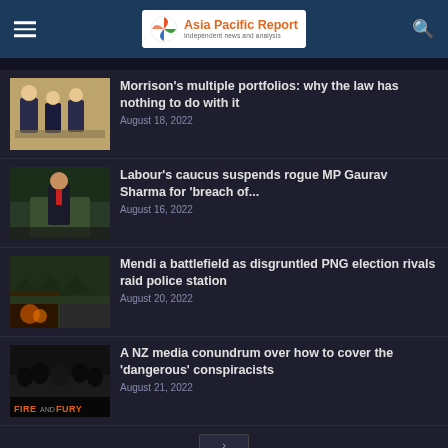Asia Pacific Report — Independent news and analysis
Morrison's multiple portfolios: why the law has nothing to do with it — August 18, 2022
Labour's caucus suspends rogue MP Gaurav Sharma for 'breach of... — August 16, 2022
Mendi a battlefield as disgruntled PNG election rivals raid police station — August 20, 2022
A NZ media conundrum over how to cover the 'dangerous' conspiracists — August 21, 2022